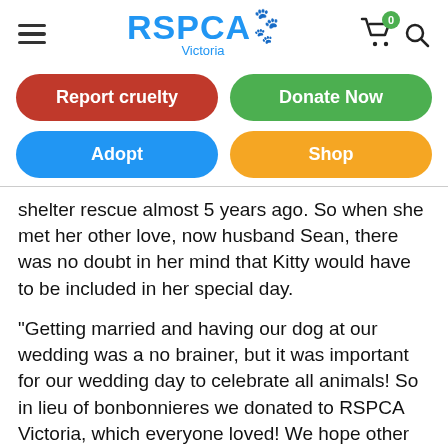RSPCA Victoria
Report cruelty
Donate Now
Adopt
Shop
shelter rescue almost 5 years ago. So when she met her other love, now husband Sean, there was no doubt in her mind that Kitty would have to be included in her special day.
“Getting married and having our dog at our wedding was a no brainer, but it was important for our wedding day to celebrate all animals! So in lieu of bonbonnieres we donated to RSPCA Victoria, which everyone loved! We hope other people continue to do the same, instead of the standard